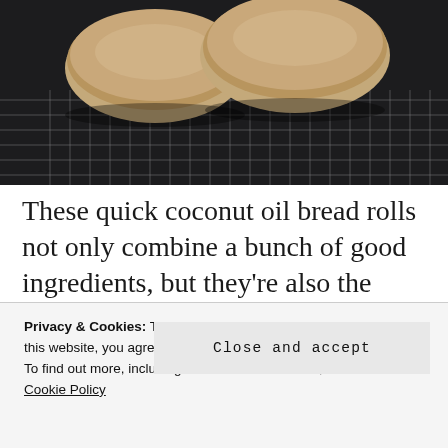[Figure (photo): Bread rolls cooling on a wire rack against a dark background]
These quick coconut oil bread rolls not only combine a bunch of good ingredients, but they're also the perfect recipe for when you don't want to spend half the day working for it. Consider this your new go-to recipe for those weekend
Privacy & Cookies: This site uses cookies. By continuing to use this website, you agree to their use.
To find out more, including how to control cookies, see here: Cookie Policy
Close and accept
[Figure (photo): Partial photo at bottom of page, appears to show white flowers or ingredients]